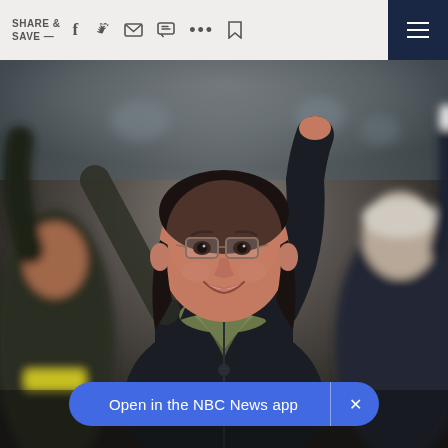SHARE & SAVE —
[Figure (photo): Woman with glasses and dark hair, wearing a dark jacket and olive green scarf, raising her right arm with fist in the air in celebration, surrounded by blurred crowd figures]
Open in the NBC News app